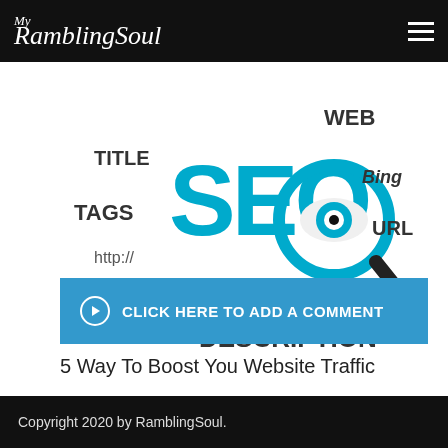My RamblingSoul
[Figure (illustration): SEO word cloud illustration featuring large cyan 'SEO' text with magnifying glass containing an eye, surrounded by words: WEB, TITLE, TAGS, http://, RANKING, AUTHORITY, Bing, URL, Yahoo!, DESCRIPTION]
5 Way To Boost You Website Traffic
CLICK HERE TO ADD A COMMENT
Copyright 2020 by RamblingSoul.